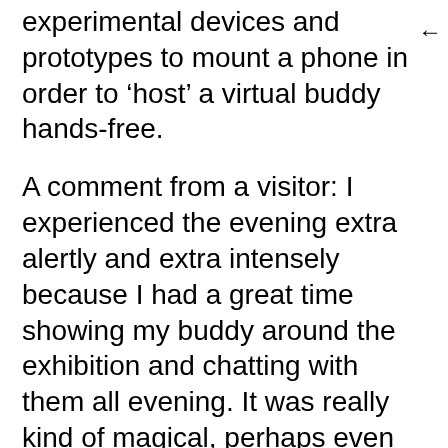experimental devices and prototypes to mount a phone in order to ‘host’ a virtual buddy hands-free.
A comment from a visitor: I experienced the evening extra alertly and extra intensely because I had a great time showing my buddy around the exhibition and chatting with them all evening. It was really kind of magical, perhaps even enough to allow me to connect with full attention during the event, being ‘in the moment’ together.